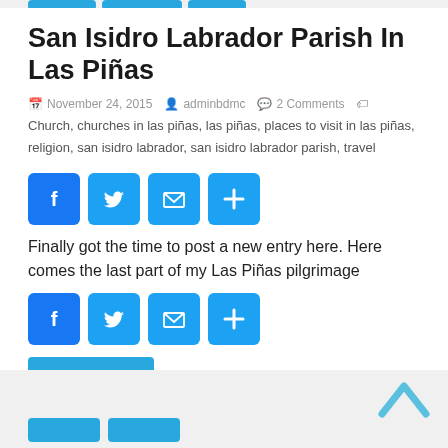San Isidro Labrador Parish In Las Piñas
November 24, 2015  adminbdmc  2 Comments
Church, churches in las piñas, las piñas, places to visit in las piñas, religion, san isidro labrador, san isidro labrador parish, travel
[Figure (infographic): Social share buttons row 1: Facebook, Twitter, Email, More]
Finally got the time to post a new entry here. Here comes the last part of my Las Piñas pilgrimage
[Figure (infographic): Social share buttons row 2: Facebook, Twitter, Email, More]
Read more